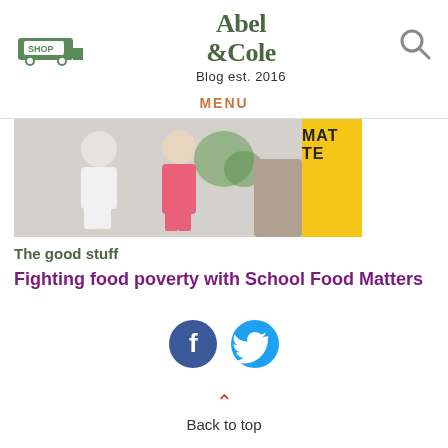Abel & Cole Blog est. 2016
MENU
[Figure (photo): Children standing outdoors, one in white clothes, one in pink. Partially visible yellow badge with text 'MATTE' on the right.]
The good stuff
Fighting food poverty with School Food Matters
[Figure (other): Facebook and Twitter social sharing icons]
Back to top